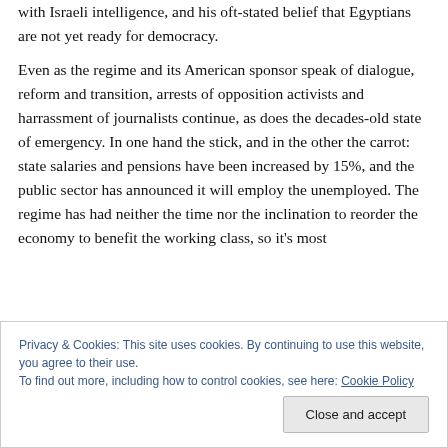with Israeli intelligence, and his oft-stated belief that Egyptians are not yet ready for democracy.
Even as the regime and its American sponsor speak of dialogue, reform and transition, arrests of opposition activists and harrassment of journalists continue, as does the decades-old state of emergency. In one hand the stick, and in the other the carrot: state salaries and pensions have been increased by 15%, and the public sector has announced it will employ the unemployed. The regime has had neither the time nor the inclination to reorder the economy to benefit the working class, so it's most
Privacy & Cookies: This site uses cookies. By continuing to use this website, you agree to their use. To find out more, including how to control cookies, see here: Cookie Policy